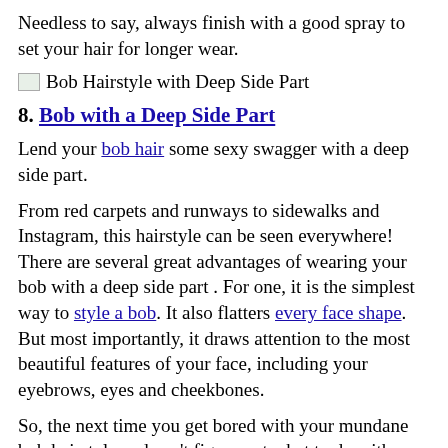Needless to say, always finish with a good spray to set your hair for longer wear.
[Figure (photo): Bob Hairstyle with Deep Side Part image placeholder]
8. Bob with a Deep Side Part
Lend your bob hair some sexy swagger with a deep side part.
From red carpets and runways to sidewalks and Instagram, this hairstyle can be seen everywhere! There are several great advantages of wearing your bob with a deep side part . For one, it is the simplest way to style a bob. It also flatters every face shape. But most importantly, it draws attention to the most beautiful features of your face, including your eyebrows, eyes and cheekbones.
So, the next time you get bored with your mundane bob hairstyle and can't figure out what to do with those short straight or wavy tresses, just wedge-out a deep side part and give your bob hair an instant, stylish upgrade!
[Figure (photo): Messy Bob Hairstyles image placeholder]
9. Messy Scrunched Bob